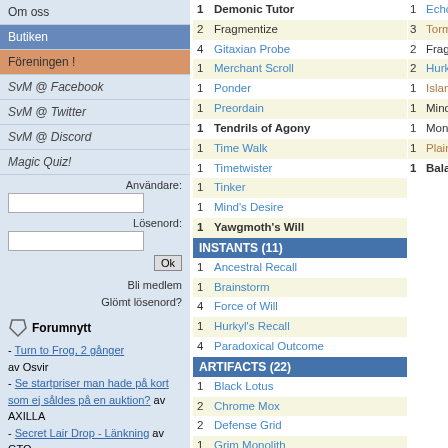Om oss
Butiken
Föreningen !
SvM @ Facebook
SvM @ Twitter
SvM @ Discord
Magic Quiz!
Användare:
Lösenord:
Bli medlem
Glömt lösenord?
Forumnytt
- Turn to Frog, 2 gånger av Osvir
- Se startpriser man hade på kort som ej såldes på en auktion? av AXILLA
- Secret Lair Drop - Länkning av GTO
- Modernligan på Alphaspel Stockholm, Säsong 20 av StenPetter
1 Demonic Tutor
2 Fragmentize
4 Gitaxian Probe
1 Merchant Scroll
1 Ponder
1 Preordain
1 Tendrils of Agony
1 Time Walk
1 Timetwister
1 Tinker
1 Mind's Desire
1 Yawgmoth's Will
INSTANTS (11)
1 Ancestral Recall
1 Brainstorm
4 Force of Will
1 Hurkyl's Recall
4 Paradoxical Outcome
ARTIFACTS (22)
1 Black Lotus
2 Chrome Mox
2 Defense Grid
1 Grim Monolith
1 Lion's Eye Diamond
1 Lotus Petal
1 Mana Crypt
1 Mana Vault
1 Memory Jar
1 Mox Emerald
1 Mox Jet
4 Mox Opal
1 Mox Pearl
1 Echoing Truth
3 Tormod's Crypt
2 Fragmentize
2 Hurkyl's Recall
1 Island
1 Mindbreak Trap
1 Monastery Mentor
1 Plains
1 Balance